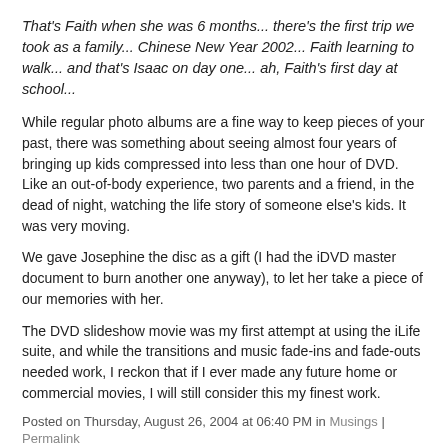That's Faith when she was 6 months... there's the first trip we took as a family... Chinese New Year 2002... Faith learning to walk... and that's Isaac on day one... ah, Faith's first day at school...
While regular photo albums are a fine way to keep pieces of your past, there was something about seeing almost four years of bringing up kids compressed into less than one hour of DVD. Like an out-of-body experience, two parents and a friend, in the dead of night, watching the life story of someone else's kids. It was very moving.
We gave Josephine the disc as a gift (I had the iDVD master document to burn another one anyway), to let her take a piece of our memories with her.
The DVD slideshow movie was my first attempt at using the iLife suite, and while the transitions and music fade-ins and fade-outs needed work, I reckon that if I ever made any future home or commercial movies, I will still consider this my finest work.
Posted on Thursday, August 26, 2004 at 06:40 PM in Musings | Permalink
[Figure (other): Social media icons: Twitter, Pinterest, Facebook]